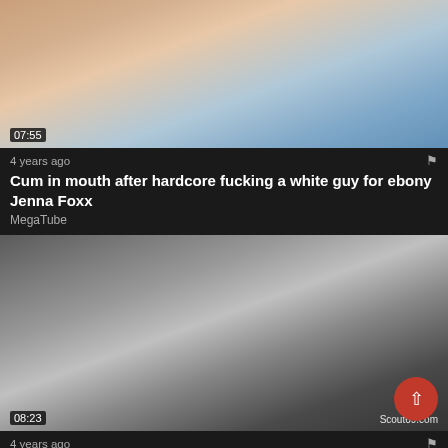[Figure (photo): Video thumbnail showing two people on a couch, duration 07:55]
4 years ago
Cum in mouth after hardcore fucking a white guy for ebony Jenna Foxx
MegaTube
[Figure (photo): Video thumbnail showing three people on a sofa, duration 08:23, watermark Scout69.com]
4 years ago
Geile Deutsche MILF hilft paar beim Sex mit